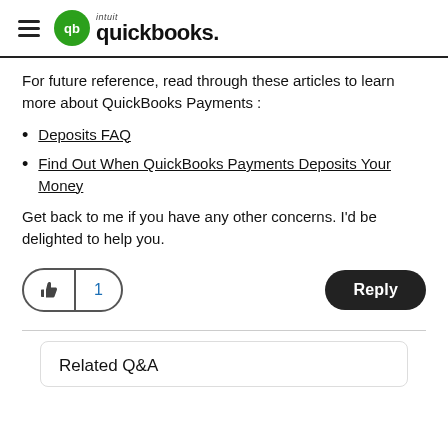intuit quickbooks
For future reference, read through these articles to learn more about QuickBooks Payments :
Deposits FAQ
Find Out When QuickBooks Payments Deposits Your Money
Get back to me if you have any other concerns. I'd be delighted to help you.
Related Q&A